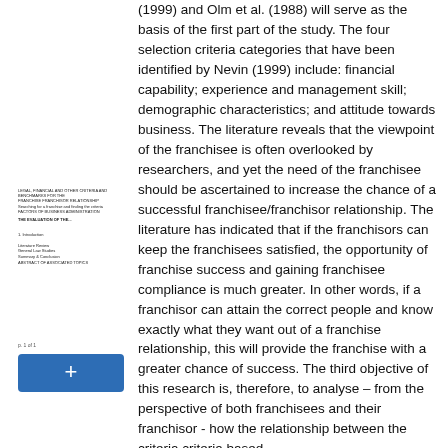[Figure (screenshot): Sidebar panel showing a document thumbnail with metadata text labels and a blue '+' add button]
(1999) and Olm et al. (1988) will serve as the basis of the first part of the study. The four selection criteria categories that have been identified by Nevin (1999) include: financial capability; experience and management skill; demographic characteristics; and attitude towards business. The literature reveals that the viewpoint of the franchisee is often overlooked by researchers, and yet the need of the franchisee should be ascertained to increase the chance of a successful franchisee/franchisor relationship. The literature has indicated that if the franchisors can keep the franchisees satisfied, the opportunity of franchise success and gaining franchisee compliance is much greater. In other words, if a franchisor can attain the correct people and know exactly what they want out of a franchise relationship, this will provide the franchise with a greater chance of success. The third objective of this research is, therefore, to analyse – from the perspective of both franchisees and their franchisor - how the relationship between the criteria criteria based